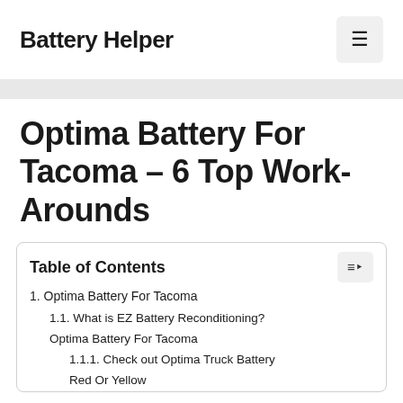Battery Helper
Optima Battery For Tacoma – 6 Top Work-Arounds
Table of Contents
1. Optima Battery For Tacoma
1.1. What is EZ Battery Reconditioning? Optima Battery For Tacoma
1.1.1. Check out Optima Truck Battery Red Or Yellow